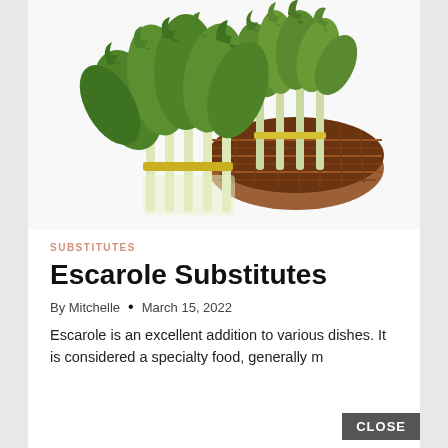[Figure (photo): Bunches of escarole (leafy green vegetable with frilly leaves and white/pale green stems) arranged next to and inside a wicker/rattan basket, on a white background.]
SUBSTITUTES
Escarole Substitutes
By Mitchelle • March 15, 2022
Escarole is an excellent addition to various dishes. It is considered a specialty food, generally m…